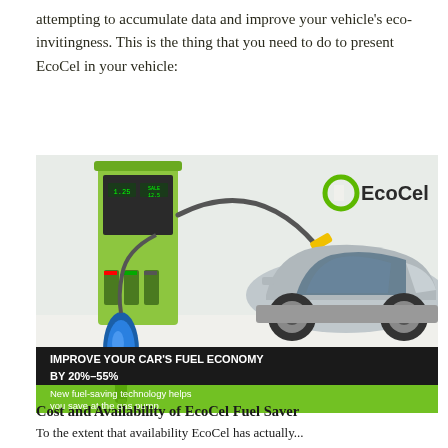attempting to accumulate data and improve your vehicle's eco-invitingness. This is the thing that you need to do to present EcoCel in your vehicle:
[Figure (photo): Advertisement image for EcoCel fuel saver device. Shows a gas station pump on the left, a silver car being fueled in the center-right, and a blue EcoCel device (car charger-shaped) in the foreground. The EcoCel logo (green C with 'EcoCel' text) appears at top right. A dark banner reads 'IMPROVE YOUR CAR'S FUEL ECONOMY BY 20%-55%' and a green banner below reads 'New fuel-saving technology helps you save at the gas pump'.]
Cost and Availability of EcoCel Fuel Saver
To the extent that availability EcoCel has actually...